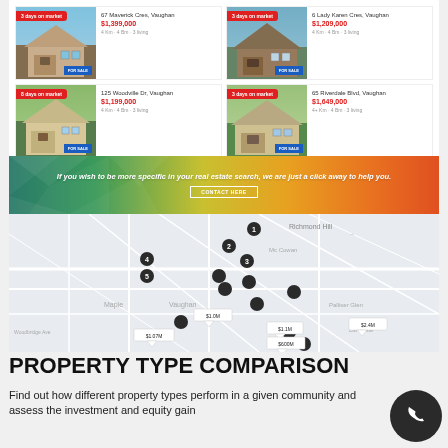[Figure (screenshot): Four real estate property listing cards in a 2x2 grid, each with a house photo, red 'days on market' badge, address, price in red, and property details]
[Figure (infographic): Colorful gradient banner (teal to orange) with italic text 'If you wish to be more specific in your real estate search, we are just a click away to help you.' and a CONTACT HERE button]
[Figure (map): Interactive map of Vaughan/Richmond Hill area showing multiple property pin markers and price callout bubbles]
PROPERTY TYPE COMPARISON
Find out how different property types perform in a given community and assess the investment and equity gain